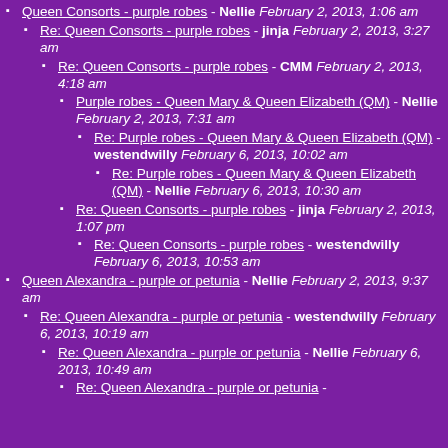Queen Consorts - purple robes - Nellie February 2, 2013, 1:06 am
Re: Queen Consorts - purple robes - jinja February 2, 2013, 3:27 am
Re: Queen Consorts - purple robes - CMM February 2, 2013, 4:18 am
Purple robes - Queen Mary & Queen Elizabeth (QM) - Nellie February 2, 2013, 7:31 am
Re: Purple robes - Queen Mary & Queen Elizabeth (QM) - westendwilly February 6, 2013, 10:02 am
Re: Purple robes - Queen Mary & Queen Elizabeth (QM) - Nellie February 6, 2013, 10:30 am
Re: Queen Consorts - purple robes - jinja February 2, 2013, 1:07 pm
Re: Queen Consorts - purple robes - westendwilly February 6, 2013, 10:53 am
Queen Alexandra - purple or petunia - Nellie February 2, 2013, 9:37 am
Re: Queen Alexandra - purple or petunia - westendwilly February 6, 2013, 10:19 am
Re: Queen Alexandra - purple or petunia - Nellie February 6, 2013, 10:49 am
Re: Queen Alexandra - purple or petunia -